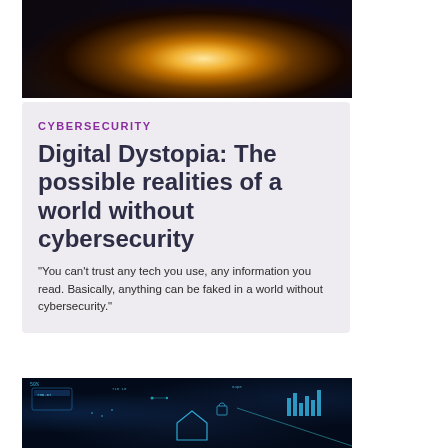[Figure (photo): A hand held open with glowing magical light and particles rising from the palm, dark background with bokeh]
CYBERSECURITY
Digital Dystopia: The possible realities of a world without cybersecurity
"You can't trust any tech you use, any information you read. Basically, anything can be faked in a world without cybersecurity."
[Figure (photo): Dark digital cybersecurity interface with glowing blue icons, data charts, house outline, and tech UI elements on dark background]